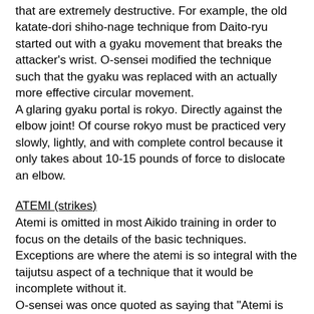that are extremely destructive. For example, the old katate-dori shiho-nage technique from Daito-ryu started out with a gyaku movement that breaks the attacker's wrist. O-sensei modified the technique such that the gyaku was replaced with an actually more effective circular movement. A glaring gyaku portal is rokyo. Directly against the elbow joint! Of course rokyo must be practiced very slowly, lightly, and with complete control because it only takes about 10-15 pounds of force to dislocate an elbow.
ATEMI (strikes)
Atemi is omitted in most Aikido training in order to focus on the details of the basic techniques. Exceptions are where the atemi is so integral with the taijutsu aspect of a technique that it would be incomplete without it. O-sensei was once quoted as saying that "Atemi is 90% of Aikido". Atemi is not emphasized in training per se, not because it is unimportant or is not Aikido, but because it is so easy to add an unlimited variety of atemi to any technique. Anyone with two brain cells to rub together can do it in their sleep.
If a student wants to go to the really dark side, they can ask their sensei about "kubi-nage". The way they show it on TV and the movies doesn't work, for obvious legal liability